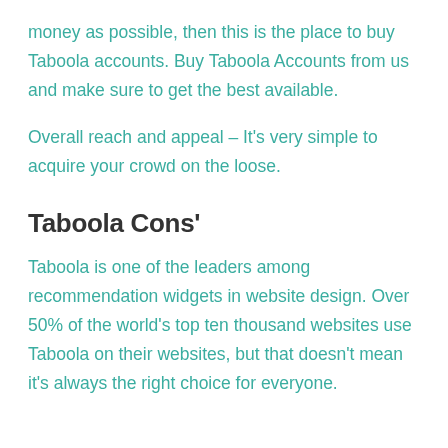money as possible, then this is the place to buy Taboola accounts. Buy Taboola Accounts from us and make sure to get the best available.
Overall reach and appeal – It's very simple to acquire your crowd on the loose.
Taboola Cons'
Taboola is one of the leaders among recommendation widgets in website design. Over 50% of the world's top ten thousand websites use Taboola on their websites, but that doesn't mean it's always the right choice for everyone.